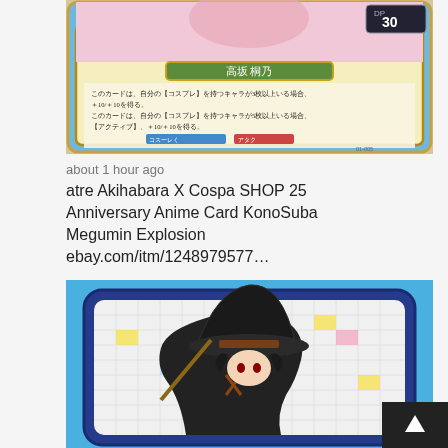[Figure (photo): Photo of a Japanese anime trading card featuring character 高坂 桐乃 (Kosaka Kirino) with DP 30, gold ornate border, Japanese text describing card effects, and card number 01-005]
about 1 hour ago
atre Akihabara X Cospa SHOP 25 Anniversary Anime Card KonoSuba Megumin Explosion ebay.com/itm/1248979577…
[Figure (photo): Photo of an anime card featuring Megumin from KonoSuba wearing a large black witch hat, set against a blue background with a checkered grid pattern card background]